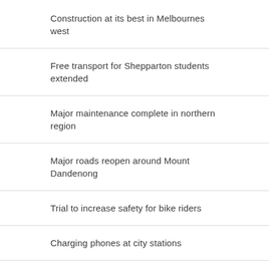Construction at its best in Melbournes west
Free transport for Shepparton students extended
Major maintenance complete in northern region
Major roads reopen around Mount Dandenong
Trial to increase safety for bike riders
Charging phones at city stations
Trial to improve intersection safety